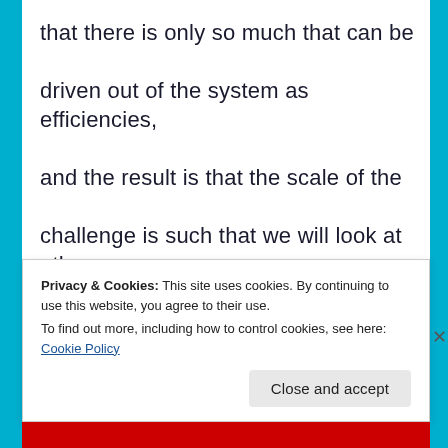that there is only so much that can be driven out of the system as efficiencies, and the result is that the scale of the challenge is such that we will look at other things, and they will include pay, pensions, the level of the establishment,
Privacy & Cookies: This site uses cookies. By continuing to use this website, you agree to their use.
To find out more, including how to control cookies, see here: Cookie Policy